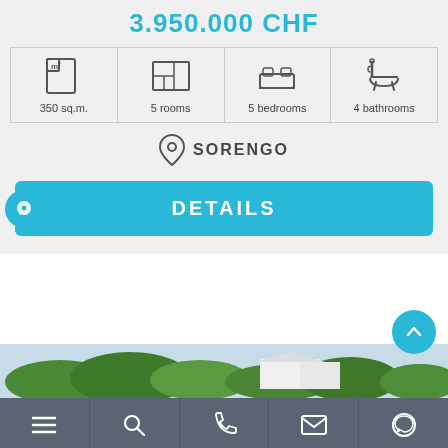3.950.000 CHF
350 sq.m.  5 rooms  5 bedrooms  4 bathrooms
SORENGO
DETAILS
[Figure (photo): Aerial/exterior photo of property with green trees and white building]
Navigation bar with menu, search, phone, email, and WhatsApp icons